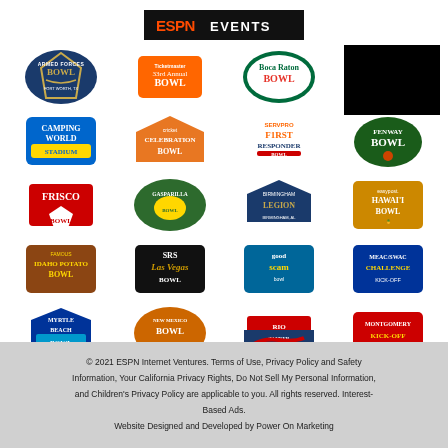[Figure (logo): ESPN Events logo - black background with ESPN in red and EVENTS in white]
[Figure (illustration): Grid of bowl game and ESPN events logos including: Armed Forces Bowl, Ticketmaster 33rd Annual Bowl, Boca Raton Bowl, TaxAct Camellia Bowl, Camping World (Stadium), Cricket Celebration Bowl, SERVPRO First Responder Bowl, Fenway Bowl, Frisco Bowl, Gasparilla Bowl, Birmingham Bowl, easypost Hawai'i Bowl, Famous Idaho Potato Bowl, SRS Las Vegas Bowl, Good Scam Bowl, MEAC/SWAC Kick-Off, Myrtle Beach Bowl, New Mexico Bowl, Rio Taller Bowl, Montgomery Kick-Off, Acme Bowl, Bowl Season, TaxAct Texas Bowl, Texas Bowl]
© 2021 ESPN Internet Ventures. Terms of Use, Privacy Policy and Safety Information, Your California Privacy Rights, Do Not Sell My Personal Information, and Children's Privacy Policy are applicable to you. All rights reserved. Interest-Based Ads. Website Designed and Developed by Power On Marketing